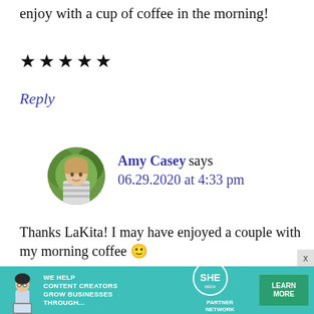enjoy with a cup of coffee in the morning!
★★★★★
Reply
Amy Casey says 06.29.2020 at 4:33 pm
Thanks LaKita! I may have enjoyed a couple with my morning coffee 🙂
Reply
[Figure (other): SHE partner network advertisement banner with woman, logo and Learn More button]